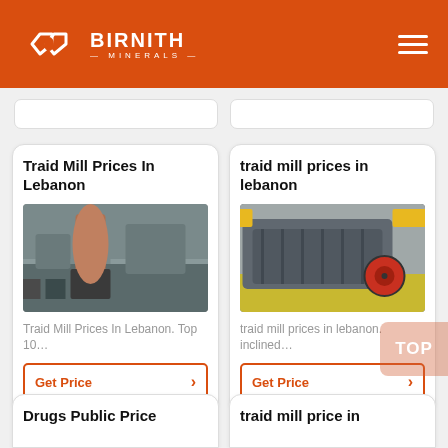BIRNITH MINERALS
Traid Mill Prices In Lebanon
[Figure (photo): Industrial mill machinery inside a large warehouse facility]
Traid Mill Prices In Lebanon. Top 10...
Get Price
traid mill prices in lebanon
[Figure (photo): Heavy industrial crushing machine with red wheel on a yellow floor]
traid mill prices in lebanon. inclined...
Get Price
Drugs Public Price
traid mill price in